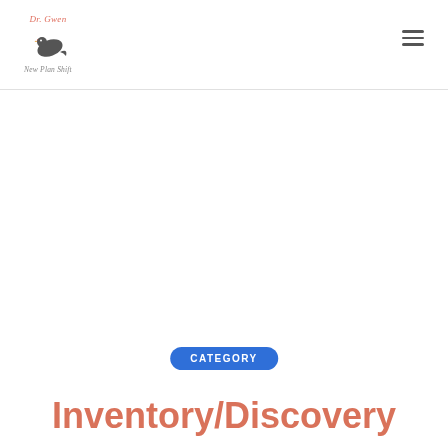Dr. Gwen — New Plan Shift logo with bird illustration
CATEGORY
Inventory/Discovery